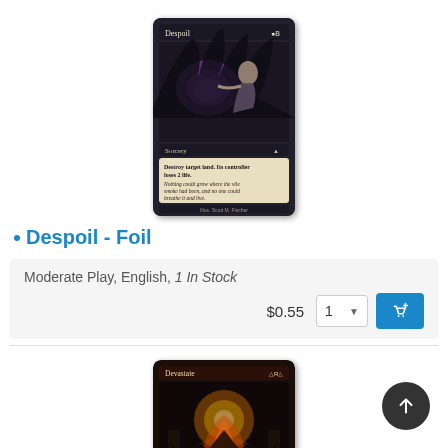[Figure (photo): Magic: The Gathering trading card 'Despoil - Foil'. Dark-themed sorcery card with a figure and purple glowing element. Card shows text: 'Destroy target land. Its controller loses 2 life.' with flavor text below. Illustrated by Scott M. Fischer.]
Despoil - Foil
Moderate Play, English, 1 In Stock
$0.55  1  [add to cart]
[Figure (photo): Magic: The Gathering trading card 'Devastate'. Red-themed card showing a fiery explosion over an arched bridge or structure.]